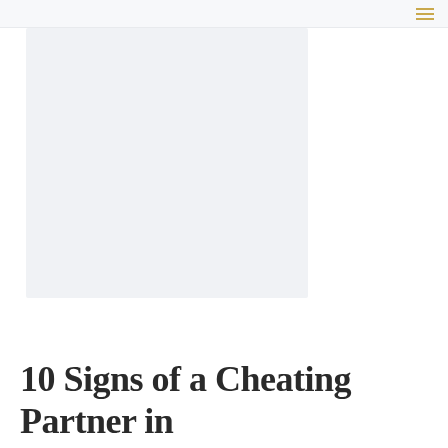≡
[Figure (photo): Hero image area placeholder, light gray background rectangle]
10 Signs of a Cheating Partner in